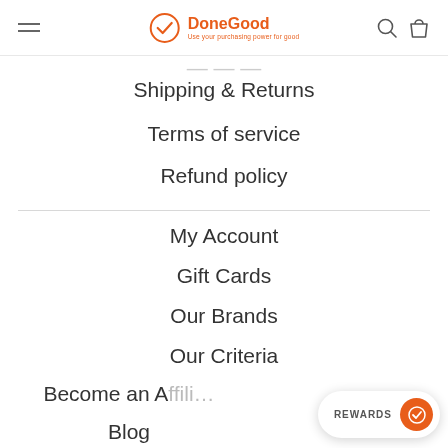DoneGood — Use your purchasing power for good
Shipping & Returns
Terms of service
Refund policy
My Account
Gift Cards
Our Brands
Our Criteria
Become an Affiliate
Blog
REWARDS